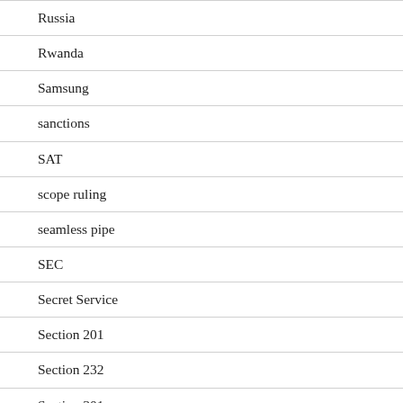Russia
Rwanda
Samsung
sanctions
SAT
scope ruling
seamless pipe
SEC
Secret Service
Section 201
Section 232
Section 301
Section 337
Seizure
seizure notice